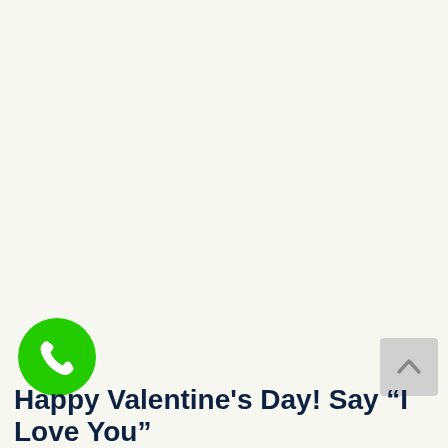[Figure (illustration): Green circular phone/call button with white telephone handset icon]
[Figure (illustration): Light grey rounded rectangle scroll-to-top button with upward chevron arrow]
Happy Valentine's Day! Say “I Love You”